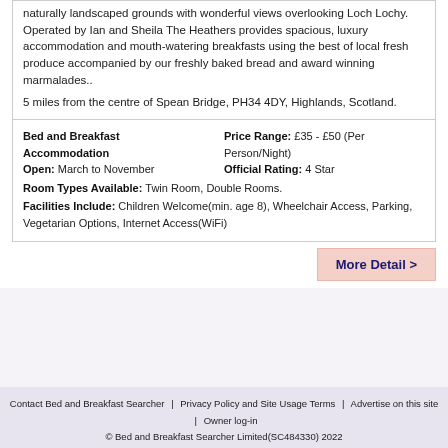naturally landscaped grounds with wonderful views overlooking Loch Lochy. Operated by Ian and Sheila The Heathers provides spacious, luxury accommodation and mouth-watering breakfasts using the best of local fresh produce accompanied by our freshly baked bread and award winning marmalades..
5 miles from the centre of Spean Bridge, PH34 4DY, Highlands, Scotland.
Bed and Breakfast Accommodation | Price Range: £35 - £50 (Per Person/Night) | Open: March to November | Official Rating: 4 Star | Room Types Available: Twin Room, Double Rooms. | Facilities Include: Children Welcome(min. age 8), Wheelchair Access, Parking, Vegetarian Options, Internet Access(WiFi)
More Detail >
Contact Bed and Breakfast Searcher | Privacy Policy and Site Usage Terms | Advertise on this site | Owner log-in | © Bed and Breakfast Searcher Limited(SC484330) 2022